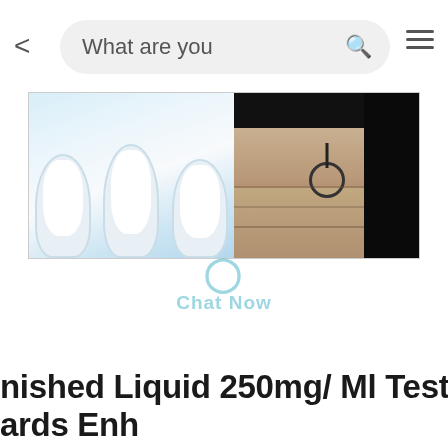< What are you [search bar] ≡
[Figure (screenshot): Two frosted glass vessels with white powder on blue background (left panel) and a person wearing shorts with drawstring on dark background (right panel), forming a product image strip. Below the strip is a 'Chat Now' watermark overlay.]
nished Liquid 250mg/ Ml Test Sus... ...ards Enh...